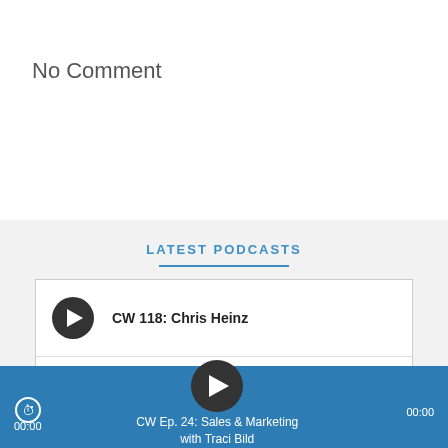No Comment
LATEST PODCASTS
CW 118: Chris Heinz
235: It's Time to Dream Again Nashville
[Figure (screenshot): Podcast player bar showing 'CW Ep. 24: Sales & Marketing with Traci Bild' with play button, time display 00:00 on both sides, and a blue progress bar.]